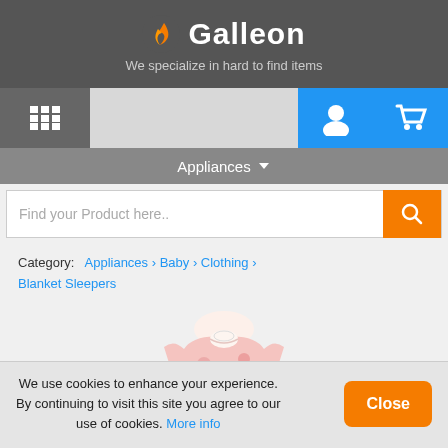Galleon - We specialize in hard to find items
Appliances
Find your Product here..
Category: Appliances › Baby › Clothing › Blanket Sleepers
[Figure (photo): Baby floral blanket sleeper clothing product image]
We use cookies to enhance your experience. By continuing to visit this site you agree to our use of cookies. More info